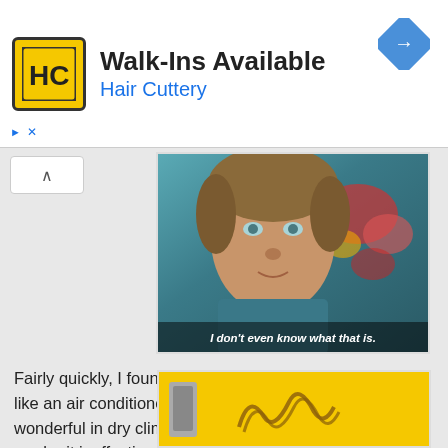[Figure (other): Hair Cuttery advertisement banner. Logo: yellow square with HC letters in black. Text: 'Walk-Ins Available' in bold black and 'Hair Cuttery' in blue. Blue diamond navigation icon top right. Ad indicator icons bottom left.]
[Figure (photo): A still from a TV show (Supernatural) showing a young man with blue-green eyes looking skeptically at the camera, with subtitle text 'I don't even know what that is.']
Fairly quickly, I found that an evaporative cooler is sort of like an air conditioner and fan all in one. It is especially wonderful in dry climates as high humidity areas will render it ineffective. It arrived a few days ago and I have already put it to work!
[Figure (photo): Bottom portion of a photo showing a yellow background with what appears to be an evaporative cooler product.]